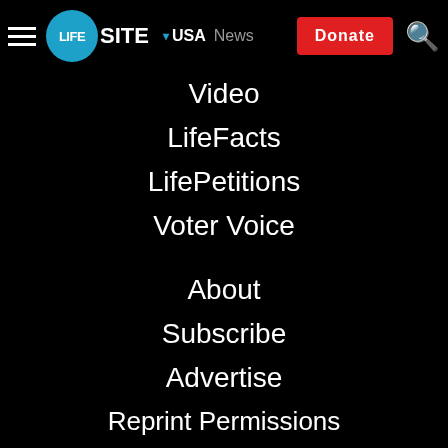LifeSite — USA | News | Donate
Video
LifeFacts
LifePetitions
Voter Voice
About
Subscribe
Advertise
Reprint Permissions
Privacy
Legal
Technical Support
Contact